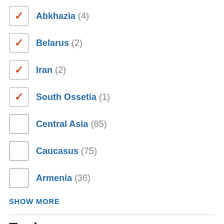Abkhazia (4) — checked
Belarus (2) — checked
Iran (2) — checked
South Ossetia (1) — checked
Central Asia (85) — unchecked
Caucasus (75) — unchecked
Armenia (36) — unchecked
SHOW MORE
Topics
Politics (74) — checked
Economy (133) — unchecked